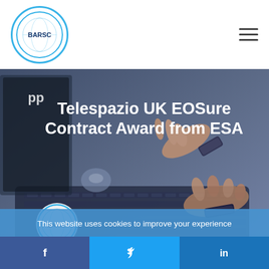BARSC
[Figure (photo): Hero banner image showing hands typing on a laptop with a dark blue overlay, containing text 'Telespazio UK EOSure Contract Award from ESA' and a BARSC logo badge in the bottom left.]
This website uses cookies to improve your experience
Accept
For more information on this and how we comply with the GDPR, please click to visit the Privacy Policy Page
f  Twitter bird  in